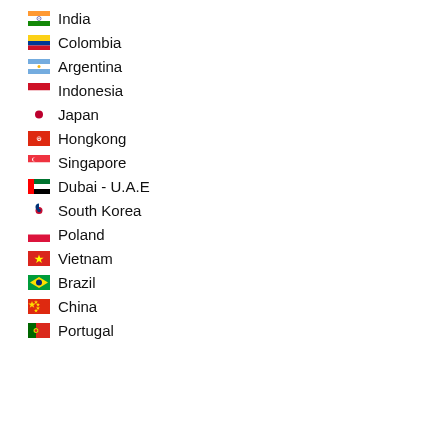India
Colombia
Argentina
Indonesia
Japan
Hongkong
Singapore
Dubai - U.A.E
South Korea
Poland
Vietnam
Brazil
China
Portugal